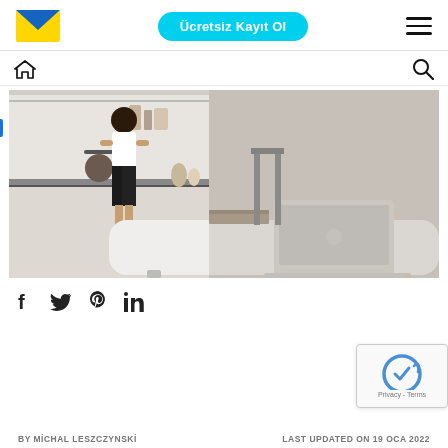Ücretsiz Kayıt Ol
[Figure (screenshot): Website navigation bar with home icon on left and search icon on right]
[Figure (photo): Woman standing at a white kitchen counter with a laptop and books on the table, viewed from behind]
f  Twitter  Pinterest  in
[Figure (other): reCAPTCHA widget with Privacy - Terms text]
BY MİCHAL LESZCZYNSKİ    LAST UPDATED ON 19 OCA 2022